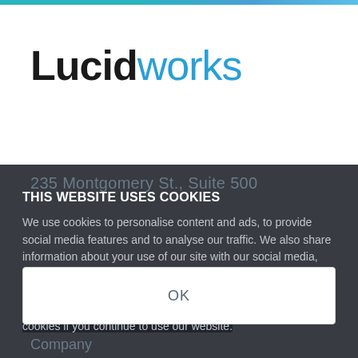[Figure (logo): Lucidworks logo — 'Lucid' in dark/black bold and 'works' in blue, large font]
235 Montgomery St., Suite 500
THIS WEBSITE USES COOKIES
We use cookies to personalise content and ads, to provide social media features and to analyse our traffic. We also share information about your use of our site with our social media, advertising and analytics partners who may combine it with other information that you've provided to them or that they've collected from your use of their services. You consent to our cookies if you continue to use our website.
OK
Company